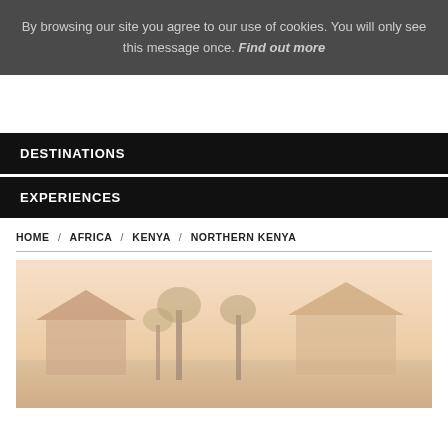By browsing our site you agree to our use of cookies. You will only see this message once. Find out more
DESTINATIONS
EXPERIENCES
HOME / AFRICA / KENYA / NORTHERN KENYA
[Figure (photo): Photo of a safari lodge or outdoor area with trees and structures, warm tones]